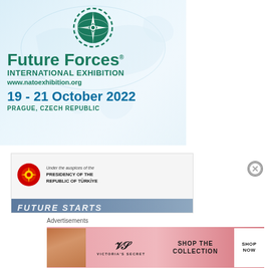[Figure (illustration): Future Forces International Exhibition advertisement with green logo (globe with compass/arrow design inside dashed circle), world map watermark background, text: Future Forces International Exhibition, www.natoexhibition.org, 19-21 October 2022, Prague, Czech Republic]
[Figure (illustration): Second advertisement: Under the auspices of the Presidency of the Republic of Türkiye, with red circular emblem/seal, and dark blue banner at bottom reading FUTURE STARTS]
Advertisements
[Figure (illustration): Victoria's Secret advertisement with pink/red background, model photo on left, VS logo, text SHOP THE COLLECTION, white button with SHOP NOW]